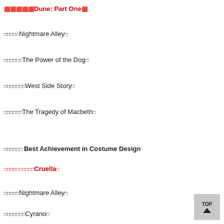🟥🟥🟥🟥🟥Dune: Part One🟥
🟥🟥🟥🟥🟥Nightmare Alley🟥
🟥🟥🟥🟥🟥🟥The Power of the Dog🟥
🟥🟥🟥🟥🟥🟥🟥West Side Story🟥
🟥🟥🟥🟥🟥🟥The Tragedy of Macbeth🟥
🟥🟥🟥🟥🟥🟥 Best Achievement in Costume Design
🟥🟥🟥🟥🟥🟥🟥🟥🟥🟥Cruella🟥
🟥🟥🟥🟥🟥Nightmare Alley🟥
🟥🟥🟥🟥🟥🟥🟥Cyrano🟥